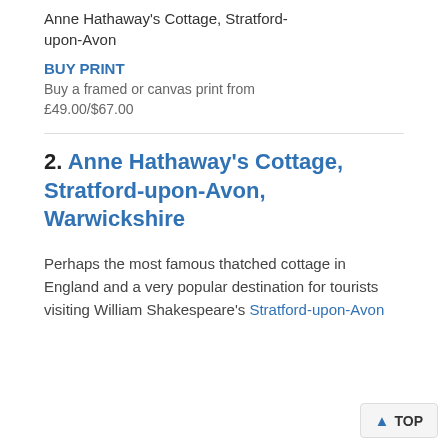Anne Hathaway's Cottage, Stratford-upon-Avon
BUY PRINT
Buy a framed or canvas print from £49.00/$67.00
2. Anne Hathaway's Cottage, Stratford-upon-Avon, Warwickshire
Perhaps the most famous thatched cottage in England and a very popular destination for tourists visiting William Shakespeare's Stratford-upon-Avon